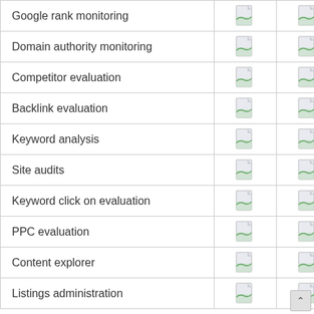| Feature |  |  |
| --- | --- | --- |
| Google rank monitoring | [icon] | [icon] |
| Domain authority monitoring | [icon] | [icon] |
| Competitor evaluation | [icon] | [icon] |
| Backlink evaluation | [icon] | [icon] |
| Keyword analysis | [icon] | [icon] |
| Site audits | [icon] | [icon] |
| Keyword click on evaluation | [icon] | [icon] |
| PPC evaluation | [icon] | [icon] |
| Content explorer | [icon] | [icon] |
| Listings administration | [icon] | [icon] |